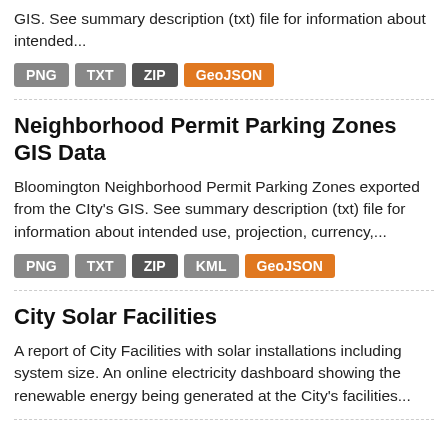GIS. See summary description (txt) file for information about intended...
PNG  TXT  ZIP  GeoJSON
Neighborhood Permit Parking Zones GIS Data
Bloomington Neighborhood Permit Parking Zones exported from the CIty's GIS. See summary description (txt) file for information about intended use, projection, currency,...
PNG  TXT  ZIP  KML  GeoJSON
City Solar Facilities
A report of City Facilities with solar installations including system size. An online electricity dashboard showing the renewable energy being generated at the City's facilities...